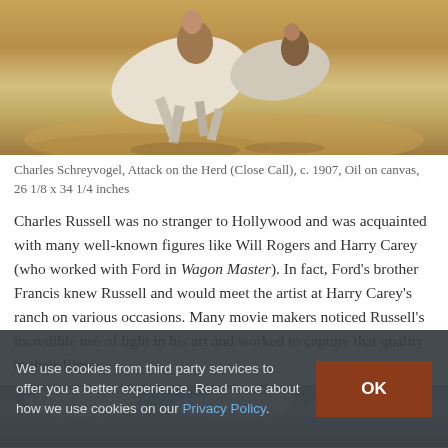[Figure (photo): Partial view of a painting showing horses running, warm sandy/golden tones, western art style by Charles Schreyvogel]
Charles Schreyvogel, Attack on the Herd (Close Call), c. 1907, Oil on canvas, 26 1/8 x 34 1/4 inches
Charles Russell was no stranger to Hollywood and was acquainted with many well-known figures like Will Rogers and Harry Carey (who worked with Ford in Wagon Master). In fact, Ford’s brother Francis knew Russell and would meet the artist at Harry Carey’s ranch on various occasions. Many movie makers noticed Russell’s incredible use of light in his art and worked to capture that quality in their films.
[Figure (photo): Partial view of a painting showing a sky with clouds, blue tones, western landscape]
We use cookies from third party services to offer you a better experience. Read more about how we use cookies on our Privacy Policy.